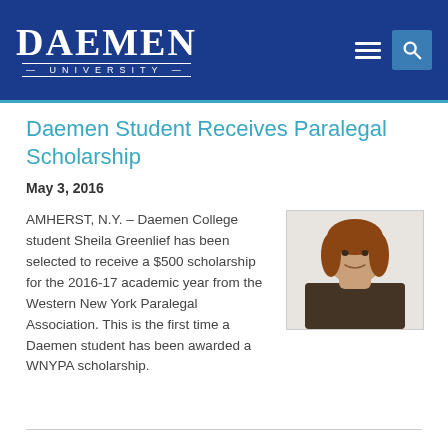DAEMEN UNIVERSITY
Daemen Student Receives Paralegal Scholarship
May 3, 2016
[Figure (photo): Portrait photo of Sheila Greenlief, a woman with reddish-brown hair wearing a dark patterned top, photographed against a light background.]
AMHERST, N.Y. – Daemen College student Sheila Greenlief has been selected to receive a $500 scholarship for the 2016-17 academic year from the Western New York Paralegal Association. This is the first time a Daemen student has been awarded a WNYPA scholarship.